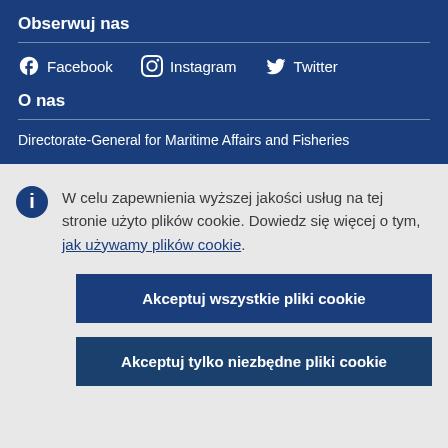Obserwuj nas
Facebook    Instagram    Twitter
O nas
Directorate-General for Maritime Affairs and Fisheries
W celu zapewnienia wyższej jakości usług na tej stronie użyto plików cookie. Dowiedz się więcej o tym, jak używamy plików cookie.
Akceptuj wszystkie pliki cookie
Akceptuj tylko niezbędne pliki cookie